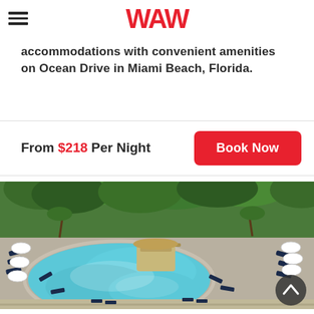WAW
accommodations with convenient amenities on Ocean Drive in Miami Beach, Florida.
From $218 Per Night
[Figure (photo): Aerial view of a luxury hotel pool surrounded by palm trees, lounge chairs, and umbrellas at Miami Beach resort]
[Figure (other): Scroll up arrow button overlay on photo]